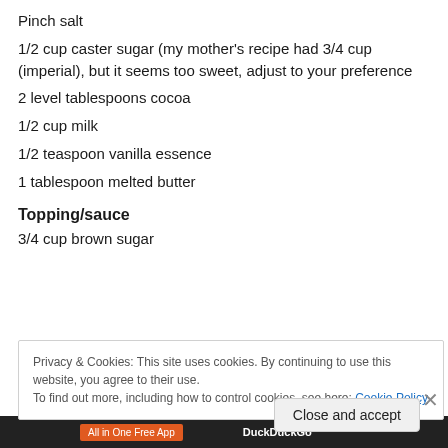Pinch salt
1/2 cup caster sugar (my mother’s recipe had 3/4 cup (imperial), but it seems too sweet, adjust to your preference
2 level tablespoons cocoa
1/2 cup milk
1/2 teaspoon vanilla essence
1 tablespoon melted butter
Topping/sauce
3/4 cup brown sugar
Privacy & Cookies: This site uses cookies. By continuing to use this website, you agree to their use.
To find out more, including how to control cookies, see here: Cookie Policy
Close and accept